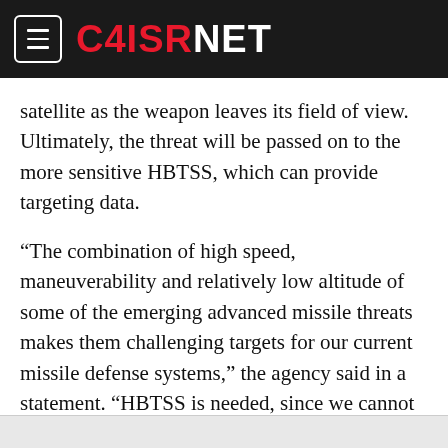C4ISRNET
satellite as the weapon leaves its field of view. Ultimately, the threat will be passed on to the more sensitive HBTSS, which can provide targeting data.
“The combination of high speed, maneuverability and relatively low altitude of some of the emerging advanced missile threats makes them challenging targets for our current missile defense systems,” the agency said in a statement. “HBTSS is needed, since we cannot populate the Earth and the oceans with terrestrial radars to meet this need. The ‘birth-to-death’ tracking that HBTSS can provide when